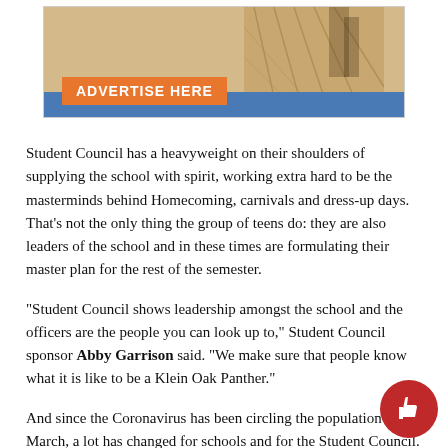[Figure (other): Advertisement banner with an owl image on a tan/blue background, with an orange 'ADVERTISE HERE' button overlay]
Student Council has a heavyweight on their shoulders of supplying the school with spirit, working extra hard to be the masterminds behind Homecoming, carnivals and dress-up days. That’s not the only thing the group of teens do: they are also leaders of the school and in these times are formulating their master plan for the rest of the semester.
“Student Council shows leadership amongst the school and the officers are the people you can look up to,” Student Council sponsor Abby Garrison said. “We make sure that people know what it is like to be a Klein Oak Panther.”
And since the Coronavirus has been circling the population since March, a lot has changed for schools and for the Student Council. This fall se... is a waiting game to see what events can still take place. There hav... new challenges for everyone both in school or online, and as half of the...